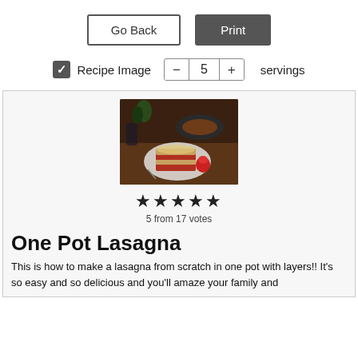[Figure (screenshot): Go Back button (outlined) and Print button (dark filled) side by side]
[Figure (screenshot): Recipe Image checkbox (checked) and servings counter showing 5 with minus and plus buttons]
[Figure (photo): Photo of One Pot Lasagna dish on a plate with tomatoes, in a dark skillet in background]
★★★★★
5 from 17 votes
One Pot Lasagna
This is how to make a lasagna from scratch in one pot with layers!! It's so easy and so delicious and you'll amaze your family and